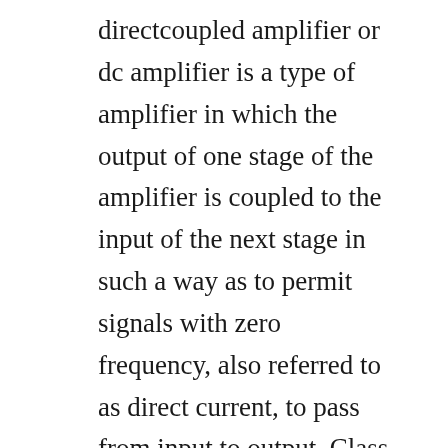directcoupled amplifier or dc amplifier is a type of amplifier in which the output of one stage of the amplifier is coupled to the input of the next stage in such a way as to permit signals with zero frequency, also referred to as direct current, to pass from input to output. Class ab amplifier using 4 transistors, then we have a headphone amplifier circuit and finally a low power amplifier using transistor. Amplifier is an electronic device which basically boost up the strength of the weak signal and converts it into a strong signal. This is the mostly used coupling technique in